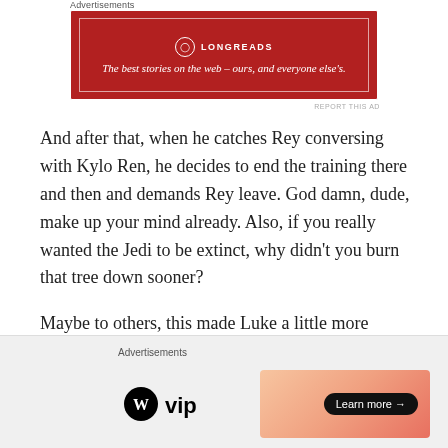Advertisements
[Figure (other): Longreads advertisement banner: red background with logo and tagline 'The best stories on the web – ours, and everyone else's.']
And after that, when he catches Rey conversing with Kylo Ren, he decides to end the training there and then and demands Rey leave. God damn, dude, make up your mind already. Also, if you really wanted the Jedi to be extinct, why didn't you burn that tree down sooner?
Maybe to others, this made Luke a little more complex but it personally just bugged me a bit.
3. Phasma is Wasted
Advertisements
[Figure (other): Bottom advertisement bar with WordPress VIP logo on left and a gradient banner with 'Learn more →' button on right.]